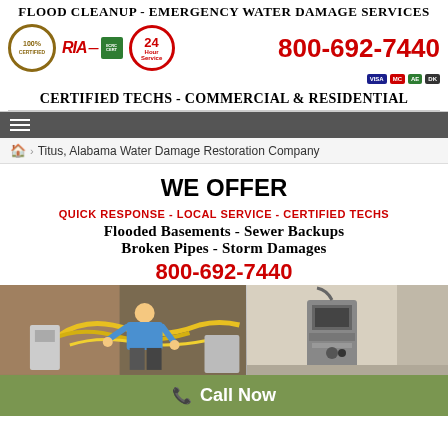Flood Cleanup - Emergency Water Damage Services
800-692-7440
Certified Techs - Commercial & Residential
Titus, Alabama Water Damage Restoration Company
WE OFFER
QUICK RESPONSE - LOCAL SERVICE - CERTIFIED TECHS
Flooded Basements - Sewer Backups
Broken Pipes - Storm Damages
800-692-7440
[Figure (photo): Two-panel photo strip: left shows a technician working with yellow hoses/equipment in a flooded area, right shows water damage restoration equipment in a room]
Call Now